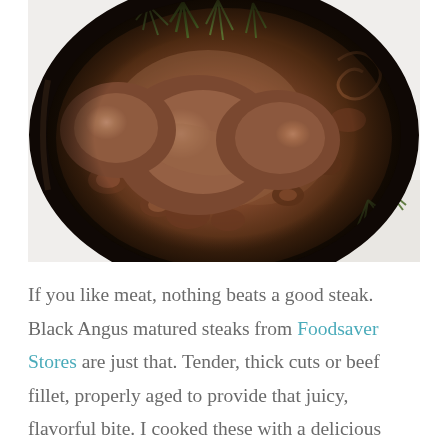[Figure (photo): Overhead close-up of a cast iron skillet containing beef steaks in a rich brown mushroom wine sauce, garnished with fresh thyme sprigs. The skillet sits on a light marble surface with additional thyme scattered around.]
If you like meat, nothing beats a good steak. Black Angus matured steaks from Foodsaver Stores are just that. Tender, thick cuts or beef fillet, properly aged to provide that juicy, flavorful bite. I cooked these with a delicious mushroom wine sauce.